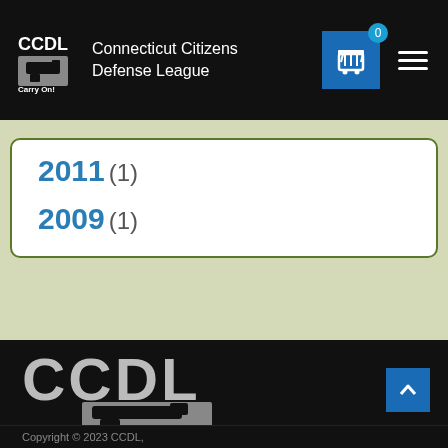CCDL - Connecticut Citizens Defense League
2011 (1)
2009 (1)
[Figure (logo): CCDL Connecticut Citizens Defense League logo with gun and 'Carry On!' text on dark background]
Copyright © 2023 CCDL